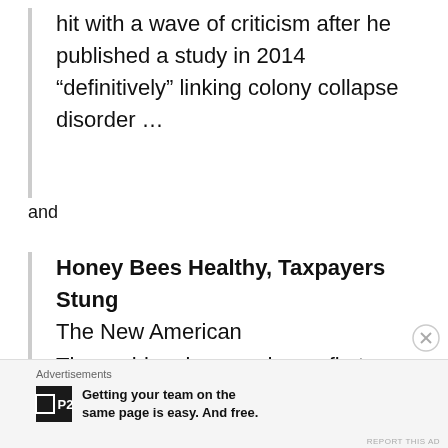hit with a wave of criticism after he published a study in 2014 “definitively” linking colony collapse disorder …
and
Honey Bees Healthy, Taxpayers Stung
The New American
The problem is a syndrome first identified in 2006 and dubbed Colony Collapse Disorder (CCD). It’s characterized not by a hive full of dead bees, but …
Advertisements
Getting your team on the same page is easy. And free.